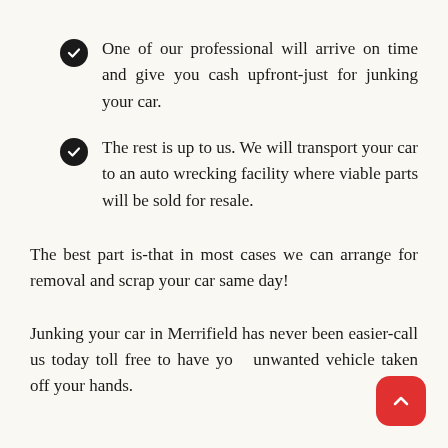One of our professional will arrive on time and give you cash upfront-just for junking your car.
The rest is up to us. We will transport your car to an auto wrecking facility where viable parts will be sold for resale.
The best part is-that in most cases we can arrange for removal and scrap your car same day!
Junking your car in Merrifield has never been easier-call us today toll free to have your unwanted vehicle taken off your hands.